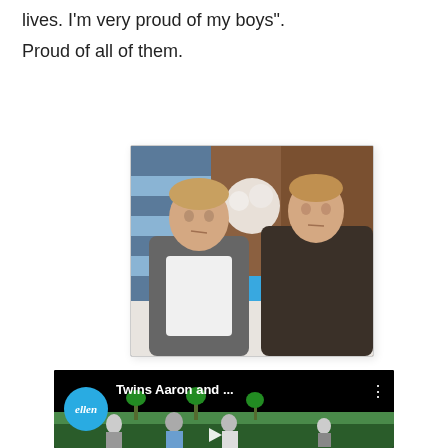lives. I'm very proud of my boys".
Proud of all of them.
[Figure (photo): Two young men (twins) sitting on a couch during an Ellen DeGeneres Show appearance, looking at each other.]
[Figure (screenshot): YouTube video thumbnail showing Ellen DeGeneres Show video titled 'Twins Aaron and ...' with a play button overlay.]